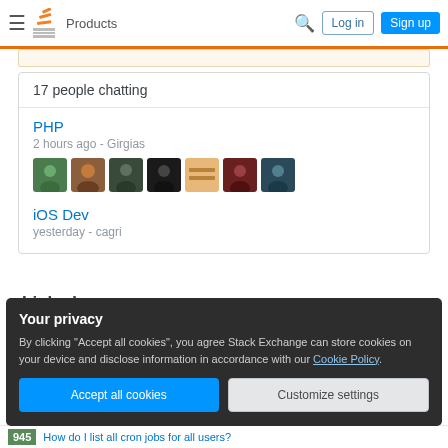Stack Overflow navigation bar with hamburger menu, logo, Products link, search icon, Log in and Sign up buttons
17 people chatting
PHP
2 hours ago - Girgias
[Figure (photo): Seven user avatar thumbnails in a row]
iOS Dev
yesterday - cagri
Linked
Your privacy
By clicking "Accept all cookies", you agree Stack Exchange can store cookies on your device and disclose information in accordance with our Cookie Policy.
Accept all cookies
Customize settings
945  How do I list all cron jobs for all users?